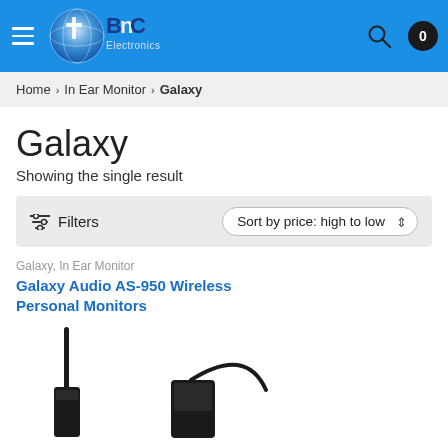BnC Electronics header with hamburger menu, logo, search icon, and cart (0)
Home > In Ear Monitor > Galaxy
Galaxy
Showing the single result
Filters  Sort by price: high to low
Galaxy, In Ear Monitor
Galaxy Audio AS-950 Wireless Personal Monitors
[Figure (photo): Product photo of Galaxy Audio AS-950 Wireless Personal Monitor showing a black transmitter device with antenna and a belt-pack receiver with ear hook]